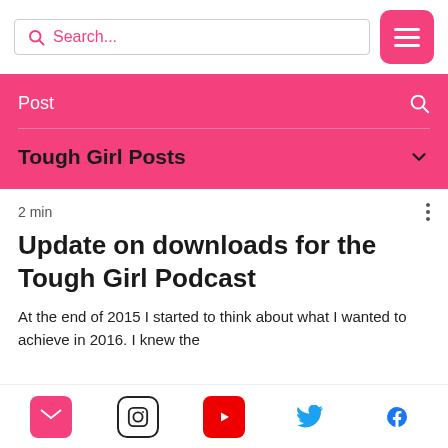[Figure (screenshot): Search bar with pink search icon and placeholder text 'Search...' and pink menu button with three horizontal white lines]
Post
Tough Girl Posts
2 min
Update on downloads for the Tough Girl Podcast
At the end of 2015 I started to think about what I wanted to achieve in 2016. I knew the
[Figure (infographic): Footer social media icons: email (pink), Instagram (black outline), YouTube (red), Twitter (blue bird), Facebook (blue f)]